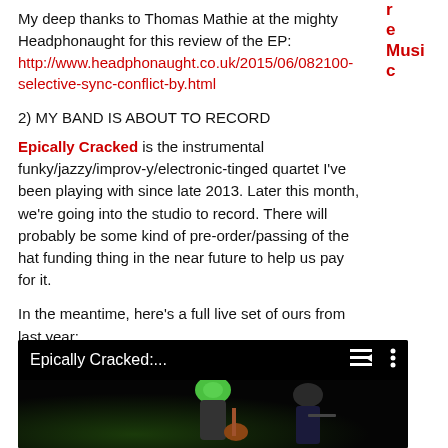r e Music c
My deep thanks to Thomas Mathie at the mighty Headphonaught for this review of the EP:
http://www.headphonaught.co.uk/2015/06/082100-selective-sync-conflict-by.html
2) MY BAND IS ABOUT TO RECORD
Epically Cracked is the instrumental funky/jazzy/improv-y/electronic-tinged quartet I've been playing with since late 2013. Later this month, we're going into the studio to record. There will probably be some kind of pre-order/passing of the hat funding thing in the near future to help us pay for it.
In the meantime, here's a full live set of ours from last year:
[Figure (screenshot): YouTube video thumbnail showing 'Epically Cracked:...' with playlist and menu icons, dark background with a person playing guitar visible at the bottom.]